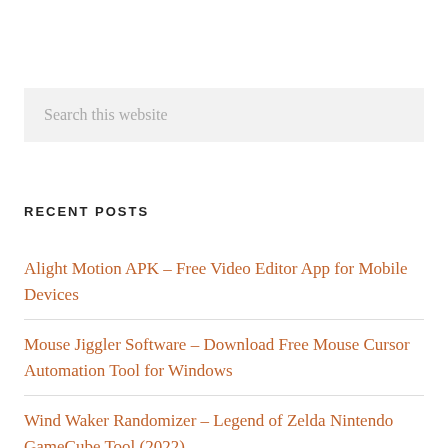Search this website
RECENT POSTS
Alight Motion APK – Free Video Editor App for Mobile Devices
Mouse Jiggler Software – Download Free Mouse Cursor Automation Tool for Windows
Wind Waker Randomizer – Legend of Zelda Nintendo GameCube Tool (2022)